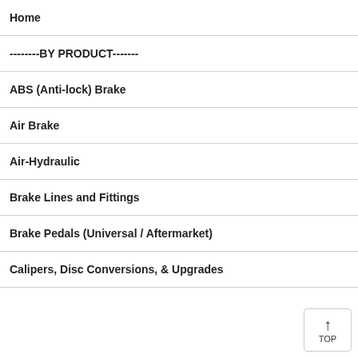Home
--------BY PRODUCT-------
ABS (Anti-lock) Brake
Air Brake
Air-Hydraulic
Brake Lines and Fittings
Brake Pedals (Universal / Aftermarket)
Calipers, Disc Conversions, & Upgrades